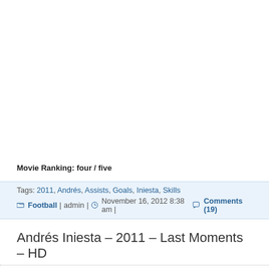Movie Ranking: four / five
Tags: 2011, Andrés, Assists, Goals, Iniesta, Skills
Football | admin | November 16, 2012 8:38 am | Comments (19)
Andrés Iniesta – 2011 – Last Moments – HD